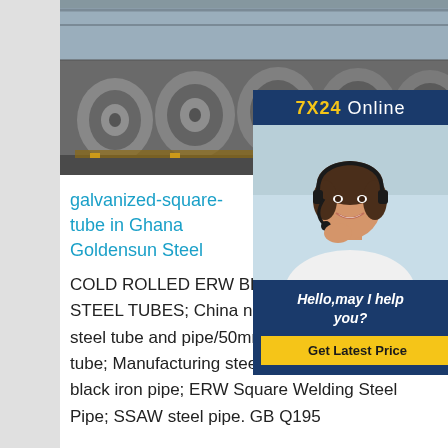[Figure (photo): Steel coils stacked in a warehouse/industrial facility, viewed from an angle showing rows of large rolled steel coils on pallets]
[Figure (infographic): Customer service chat widget with '7X24 Online' header in yellow/white on dark blue background, photo of a smiling woman with headset, 'Hello,may I help you?' text, and 'Get Latest Price' yellow button]
galvanized-square-tube in Ghana Goldensun Steel
COLD ROLLED ERW BLACK ANNEAELD STEEL TUBES; China new products round mild steel tube and pipe/50mm welded steel pipe tube; Manufacturing steel best supplier 3 inch black iron pipe; ERW Square Welding Steel Pipe; SSAW steel pipe. GB Q195